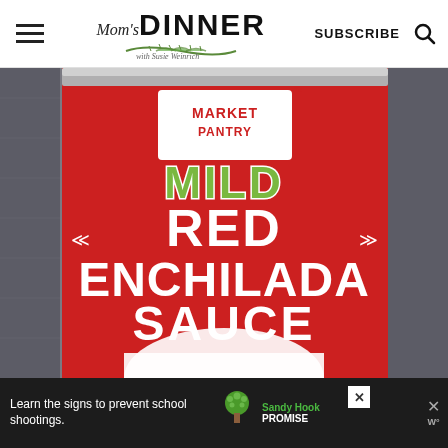[Figure (screenshot): Website header for Mom's Dinner with Susie Weinrich. Contains hamburger menu icon on left, logo in center, SUBSCRIBE text and search icon on right.]
[Figure (photo): Close-up photo of a red can of Market Pantry Mild Red Enchilada Sauce on a grey fabric background.]
[Figure (screenshot): Advertisement banner at bottom: dark background with text 'Learn the signs to prevent school shootings.' and Sandy Hook Promise logo with tree icon.]